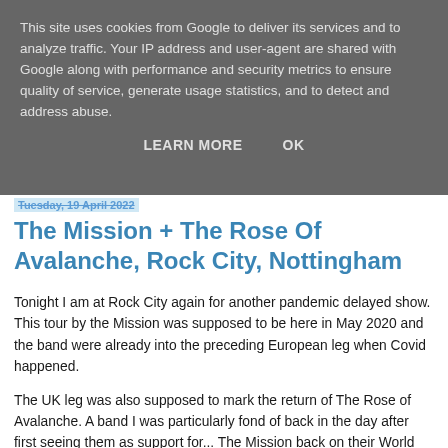This site uses cookies from Google to deliver its services and to analyze traffic. Your IP address and user-agent are shared with Google along with performance and security metrics to ensure quality of service, generate usage statistics, and to detect and address abuse.
LEARN MORE   OK
Tuesday, 19 April 2022
The Mission + The Rose Of Avalanche, Rock City, Nottingham
Tonight I am at Rock City again for another pandemic delayed show. This tour by the Mission was supposed to be here in May 2020 and the band were already into the preceding European leg when Covid happened.
The UK leg was also supposed to mark the return of The Rose of Avalanche. A band I was particularly fond of back in the day after first seeing them as support for... The Mission back on their World Crusade Tour in 1986. Oddly after that they never really hit the 'medium time' let alone the 'big time'.